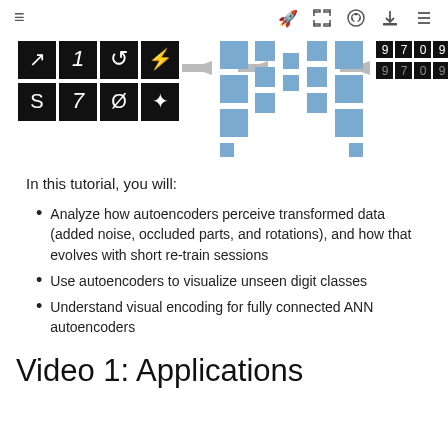≡  🚀  ⬜  GitHub  ⬇  ☰
[Figure (illustration): Neural network autoencoder diagram: left side shows 8 small black tiles with handwritten digit symbols (arrows, numbers), center shows blue rectangular blocks representing encoder/decoder layers connected by arrows, right side shows 8 black tiles with digit outputs (9, 7, 0, 9 in two rows).]
In this tutorial, you will:
Analyze how autoencoders perceive transformed data (added noise, occluded parts, and rotations), and how that evolves with short re-train sessions
Use autoencoders to visualize unseen digit classes
Understand visual encoding for fully connected ANN autoencoders
Video 1: Applications